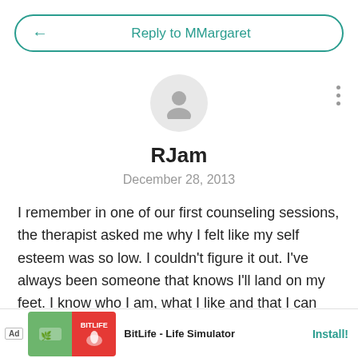Reply to MMargaret
RJam
December 28, 2013
I remember in one of our first counseling sessions, the therapist asked me why I felt like my self esteem was so low. I couldn't figure it out. I've always been someone that knows I'll land on my feet. I know who I am, what I like and that I can take care of myself. I like being that person... had inch ... e
[Figure (screenshot): Ad banner for BitLife - Life Simulator app with Install button]